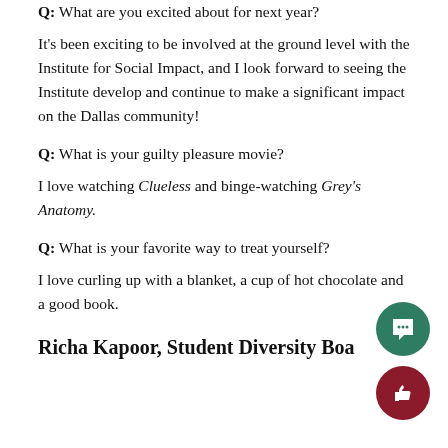Q: What are you excited about for next year?
It's been exciting to be involved at the ground level with the Institute for Social Impact, and I look forward to seeing the Institute develop and continue to make a significant impact on the Dallas community!
Q: What is your guilty pleasure movie?
I love watching Clueless and binge-watching Grey's Anatomy.
Q: What is your favorite way to treat yourself?
I love curling up with a blanket, a cup of hot chocolate and a good book.
Richa Kapoor, Student Diversity Board Chair